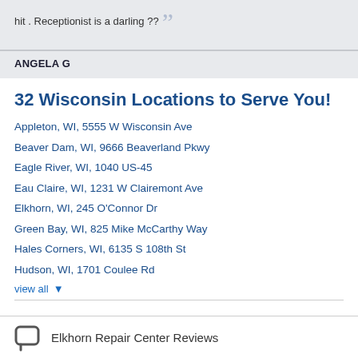hit . Receptionist is a darling ??
ANGELA G
32 Wisconsin Locations to Serve You!
Appleton, WI, 5555 W Wisconsin Ave
Beaver Dam, WI, 9666 Beaverland Pkwy
Eagle River, WI, 1040 US-45
Eau Claire, WI, 1231 W Clairemont Ave
Elkhorn, WI, 245 O'Connor Dr
Green Bay, WI, 825 Mike McCarthy Way
Hales Corners, WI, 6135 S 108th St
Hudson, WI, 1701 Coulee Rd
view all
Elkhorn Repair Center Reviews